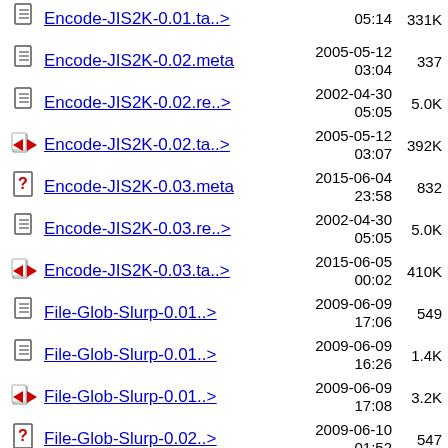Encode-JIS2K-0.01.ta..> 05:14 331K
Encode-JIS2K-0.02.meta 2005-05-12 03:04 337
Encode-JIS2K-0.02.re..> 2002-04-30 05:05 5.0K
Encode-JIS2K-0.02.ta..> 2005-05-12 03:07 392K
Encode-JIS2K-0.03.meta 2015-06-04 23:58 832
Encode-JIS2K-0.03.re..> 2002-04-30 05:05 5.0K
Encode-JIS2K-0.03.ta..> 2015-06-05 00:02 410K
File-Glob-Slurp-0.01..> 2009-06-09 17:06 549
File-Glob-Slurp-0.01..> 2009-06-09 16:26 1.4K
File-Glob-Slurp-0.01..> 2009-06-09 17:08 3.2K
File-Glob-Slurp-0.02..> 2009-06-10 01:52 547
File-Glob-Slurp-0.02..> 2009-06-09 16:26 1.4K